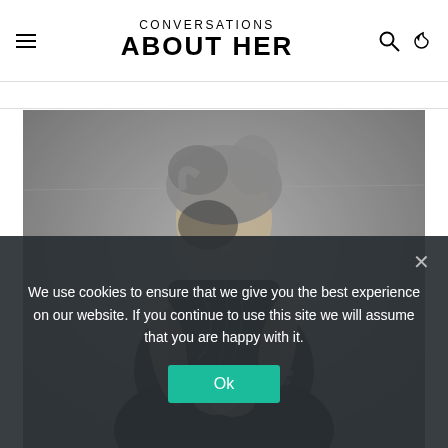CONVERSATIONS ABOUT HER
[Figure (photo): Black and white fashion photograph of a young woman with tousled hair, wearing a dark top and multiple layered necklaces and bracelets, standing against a concrete wall background.]
We use cookies to ensure that we give you the best experience on our website. If you continue to use this site we will assume that you are happy with it.